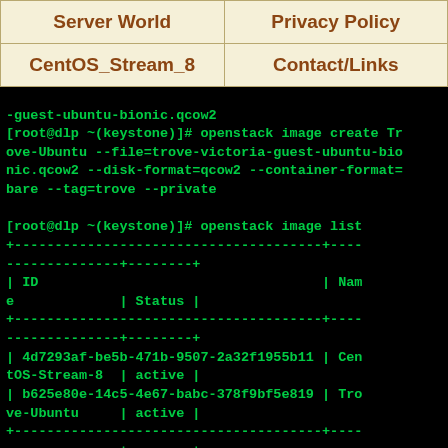| Server World | Privacy Policy |
| --- | --- |
| CentOS_Stream_8 | Contact/Links |
-guest-ubuntu-bionic.qcow2
[root@dlp ~(keystone)]# openstack image create Trove-Ubuntu --file=trove-victoria-guest-ubuntu-bionic.qcow2 --disk-format=qcow2 --container-format=bare --tag=trove --private

[root@dlp ~(keystone)]# openstack image list
+--------------------------------------+----+
--------------+--------+
| ID                                   | Nam
e             | Status |
+--------------------------------------+----+
--------------+--------+
| 4d7293af-be5b-471b-9507-2a32f1955b11 | Cen
tOS-Stream-8  | active |
| b625e80e-14c5-4e67-babc-378f9bf5e819 | Tro
ve-Ubuntu     | active |
+--------------------------------------+----+
--------------+--------+